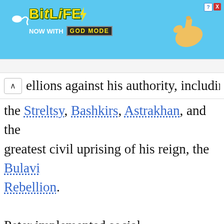[Figure (screenshot): BitLife advertisement banner with blue background, sperm icon, yellow BitLife logo, GOD MODE text, pointing hand graphic, close and question buttons]
ellions against his authority, including by the Streltsy, Bashkirs, Astrakhan, and the greatest civil uprising of his reign, the Bulavin Rebellion.
Peter implemented social modernization in a absolute manner by introducing French and western dress to his court and requiring courtiers, state officials, and the military to shave their beards and adopt modern clothin